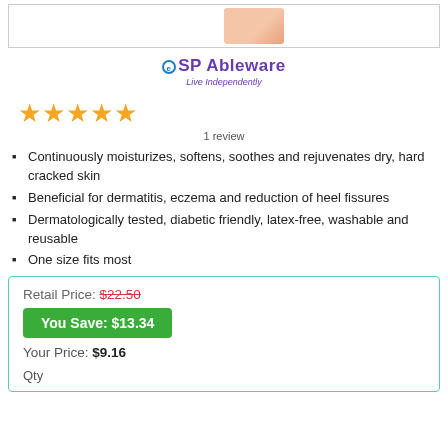[Figure (photo): Product image placeholder showing a beige/skin-toned object at top of page within a bordered box]
[Figure (logo): SP Ableware logo with circle icon and tagline 'Live Independently']
★★★★★ 1 review
Continuously moisturizes, softens, soothes and rejuvenates dry, hard cracked skin
Beneficial for dermatitis, eczema and reduction of heel fissures
Dermatologically tested, diabetic friendly, latex-free, washable and reusable
One size fits most
Retail Price: $22.50
You Save: $13.34
Your Price: $9.16
Qty